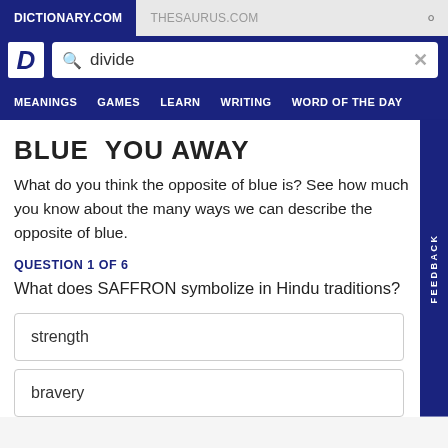DICTIONARY.COM   THESAURUS.COM
BLUE  YOU AWAY
What do you think the opposite of blue is? See how much you know about the many ways we can describe the opposite of blue.
QUESTION 1 OF 6
What does SAFFRON symbolize in Hindu traditions?
strength
bravery